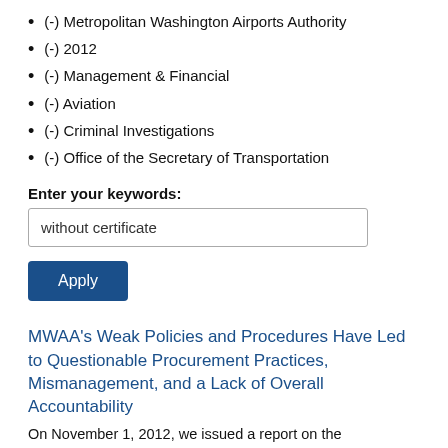(-) Metropolitan Washington Airports Authority
(-) 2012
(-) Management & Financial
(-) Aviation
(-) Criminal Investigations
(-) Office of the Secretary of Transportation
Enter your keywords:
without certificate
Apply
MWAA's Weak Policies and Procedures Have Led to Questionable Procurement Practices, Mismanagement, and a Lack of Overall Accountability
On November 1, 2012, we issued a report on the